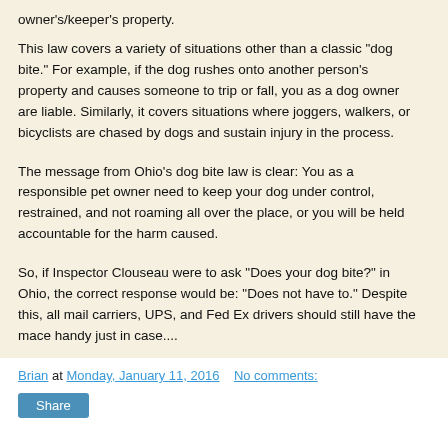owner's/keeper's property.
This law covers a variety of situations other than a classic "dog bite." For example, if the dog rushes onto another person's property and causes someone to trip or fall, you as a dog owner are liable. Similarly, it covers situations where joggers, walkers, or bicyclists are chased by dogs and sustain injury in the process.
The message from Ohio's dog bite law is clear: You as a responsible pet owner need to keep your dog under control, restrained, and not roaming all over the place, or you will be held accountable for the harm caused.
So, if Inspector Clouseau were to ask "Does your dog bite?" in Ohio, the correct response would be: "Does not have to." Despite this, all mail carriers, UPS, and Fed Ex drivers should still have the mace handy just in case....
Brian at Monday, January 11, 2016   No comments: